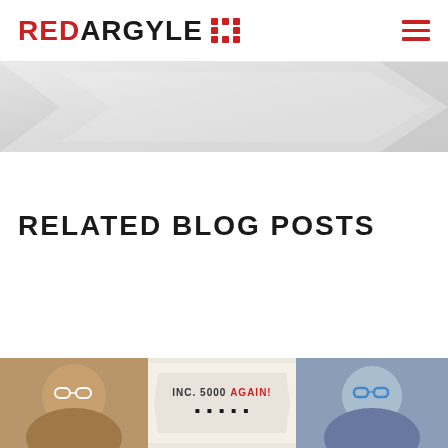REDARGYLE [logo icon] [hamburger menu]
[Figure (illustration): Gray banner/chevron decorative area below the header navigation]
RELATED BLOG POSTS
[Figure (photo): Person with glasses thumbnail on left]
[Figure (infographic): INC. 5000 AGAIN! text graphic in middle]
[Figure (photo): Person with blue glasses thumbnail on right]